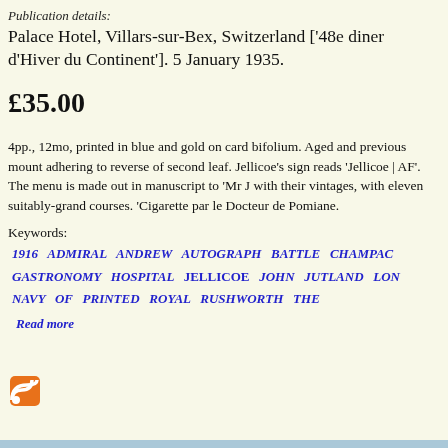Publication details:
Palace Hotel, Villars-sur-Bex, Switzerland ['48e diner d'Hiver du Continent']. 5 January 1935.
£35.00
4pp., 12mo, printed in blue and gold on card bifolium. Aged and previous mount adhering to reverse of second leaf. Jellicoe's sign reads 'Jellicoe | AF'. The menu is made out in manuscript to 'Mr J with their vintages, with eleven suitably-grand courses. 'Cigarette par le Docteur de Pomiane.
Keywords:
1916   ADMIRAL   ANDREW   AUTOGRAPH   BATTLE   CHAMPAC GASTRONOMY   HOSPITAL   JELLICOE   JOHN   JUTLAND   LON NAVY   OF   PRINTED   ROYAL   RUSHWORTH   THE
Read more